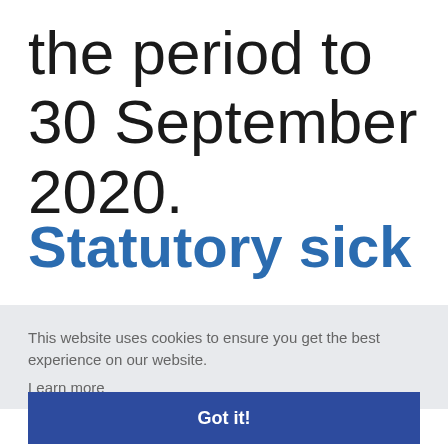the period to 30 September 2020.
Statutory sick
This website uses cookies to ensure you get the best experience on our website. Learn more
Got it!
ort ty585a